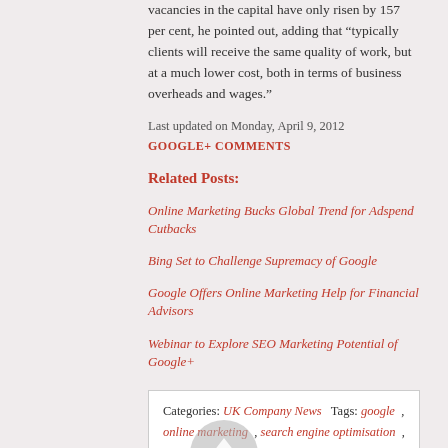vacancies in the capital have only risen by 157 per cent, he pointed out, adding that "typically clients will receive the same quality of work, but at a much lower cost, both in terms of business overheads and wages."
Last updated on Monday, April 9, 2012
GOOGLE+ COMMENTS
Related Posts:
Online Marketing Bucks Global Trend for Adspend Cutbacks
Bing Set to Challenge Supremacy of Google
Google Offers Online Marketing Help for Financial Advisors
Webinar to Explore SEO Marketing Potential of Google+
Categories: UK Company News   Tags: google , online marketing , search engine optimisation , SEO , SEO marketing